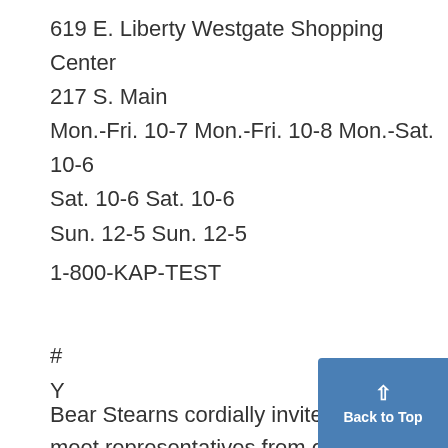619 E. Liberty Westgate Shopping Center
217 S. Main
Mon.-Fri. 10-7 Mon.-Fri. 10-8 Mon.-Sat. 10-6
Sat. 10-6 Sat. 10-6
Sun. 12-5 Sun. 12-5
1-800-KAP-TEST
#
Y
Bear Stearns cordially invites all seniors to meet representatives from our